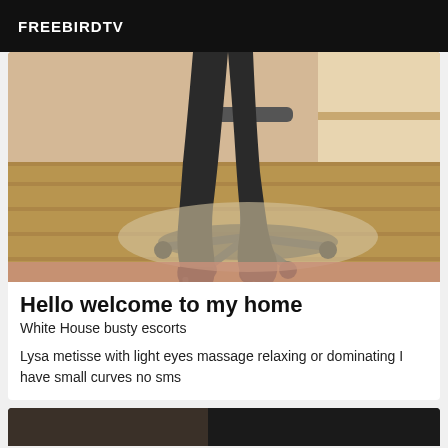FREEBIRDTV
[Figure (photo): Legs of a person wearing black stockings and high heels next to an office chair on a wooden floor]
Hello welcome to my home
White House busty escorts
Lysa metisse with light eyes massage relaxing or dominating I have small curves no sms
[Figure (photo): Partial view of another listing image, cropped at bottom of page]